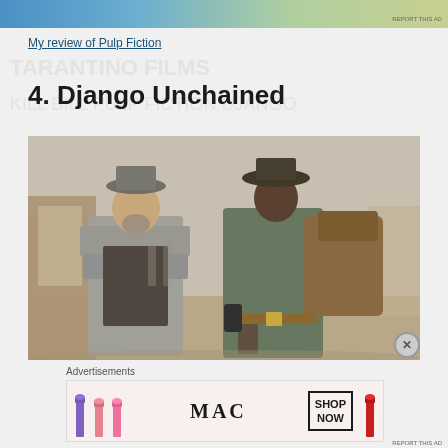[Figure (photo): Top banner advertisement with blue-green gradient]
REPORT THIS AD
My review of Pulp Fiction
4. Django Unchained
[Figure (photo): Movie still from Django Unchained showing two men in western attire walking on a dusty street. One man wears a long grey cape coat and hat, the other wears a green jacket and cowboy hat and carries a saddle.]
Advertisements
[Figure (photo): MAC cosmetics advertisement banner showing colorful lipsticks on left, MAC logo in center, SHOP NOW button box, and red lipstick on right]
REPORT THIS AD